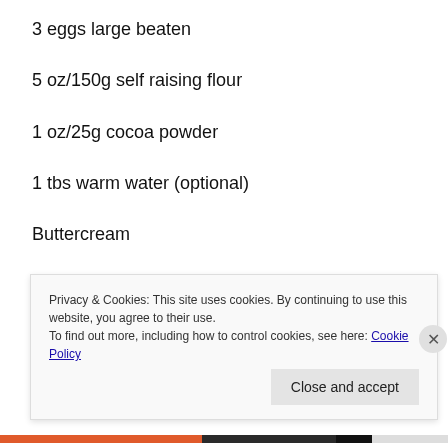3 eggs large beaten
5 oz/150g self raising flour
1 oz/25g cocoa powder
1 tbs warm water (optional)
Buttercream
2 tbsp cocoa powder
Privacy & Cookies: This site uses cookies. By continuing to use this website, you agree to their use.
To find out more, including how to control cookies, see here: Cookie Policy